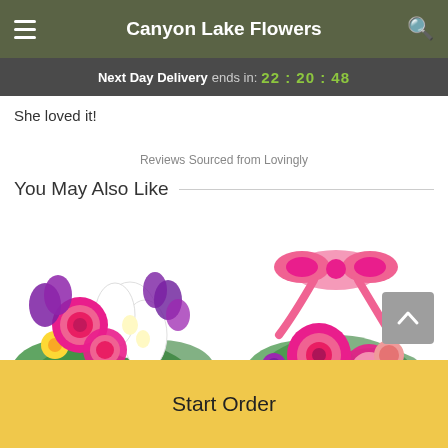Canyon Lake Flowers
Next Day Delivery ends in: 22 : 20 : 48
She loved it!
Reviews Sourced from Lovingly
You May Also Like
[Figure (photo): Two flower bouquet product photos side by side: left shows a colorful arrangement with pink roses, purple freesia, and white lilies; right shows a pink and magenta arrangement with gerbera daisies, carnations, and a pink bow.]
Start Order